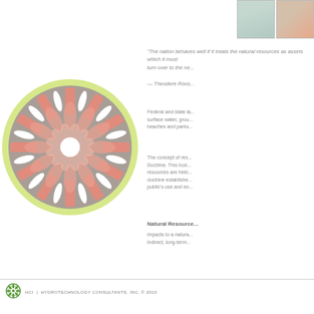[Figure (illustration): Decorative circular mandala/rosette graphic with light green outer ring, gray inner ring, and salmon/coral petal and spike patterns radiating from center white star shape]
[Figure (photo): Two small photo thumbnails at top right showing outdoor nature/water scenes]
"The nation behaves well if it treats the natural resources as assets which it must turn over to the ne...
— Theodore Roos...
Federal and state la... surface water, grou... beaches and parks...
The concept of res... Doctrine. This bod... resources are held... doctrine establishe... public's use and en...
Natural Resource...
impacts to a natura... indirect, long-term...
HCI  |  HYDROTECHNOLOGY CONSULTANTS, INC. © 2010